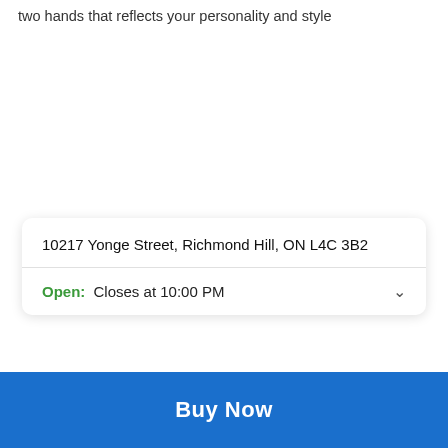two hands that reflects your personality and style
10217 Yonge Street, Richmond Hill, ON L4C 3B2
Open: Closes at 10:00 PM
+19052377270
View Website
Buy Now